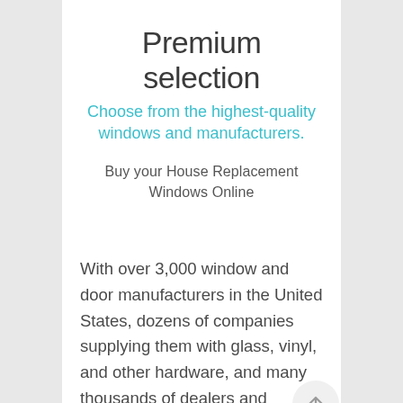Premium selection
Choose from the highest-quality windows and manufacturers.
Buy your House Replacement Windows Online
With over 3,000 window and door manufacturers in the United States, dozens of companies supplying them with glass, vinyl, and other hardware, and many thousands of dealers and contractors vying to install them, its hard to buy replacement windows